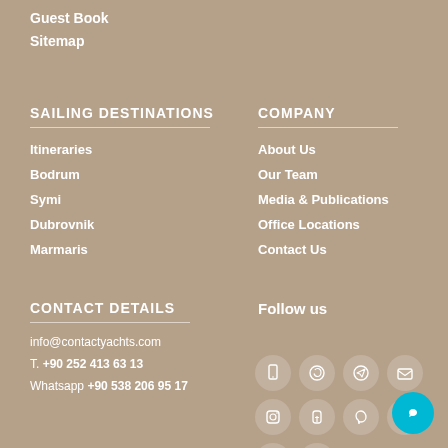Guest Book
Sitemap
SAILING DESTINATIONS
Itineraries
Bodrum
Symi
Dubrovnik
Marmaris
COMPANY
About Us
Our Team
Media & Publications
Office Locations
Contact Us
CONTACT DETAILS
info@contactyachts.com
T. +90 252 413 63 13
Whatsapp +90 538 206 95 17
Follow us
[Figure (infographic): Social media icons grid: phone, WhatsApp, Telegram, email, Instagram, Facebook, Pinterest, LinkedIn, Twitter, YouTube — circular icon buttons]